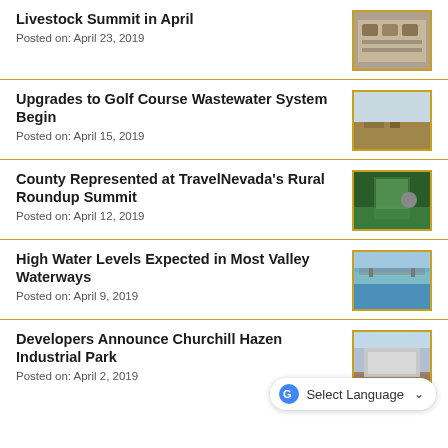Livestock Summit in April
Posted on: April 23, 2019
[Figure (photo): People seated at tables at a livestock summit event]
Upgrades to Golf Course Wastewater System Begin
Posted on: April 15, 2019
[Figure (photo): Construction or ground work at a golf course wastewater site]
County Represented at TravelNevada's Rural Roundup Summit
Posted on: April 12, 2019
[Figure (photo): Display booth with Nevada-themed exhibit and green tablecloth]
High Water Levels Expected in Most Valley Waterways
Posted on: April 9, 2019
[Figure (photo): Bridge over waterway with high water levels]
Developers Announce Churchill Hazen Industrial Park
Posted on: April 2, 2019
[Figure (photo): Industrial building construction site]
Select Language